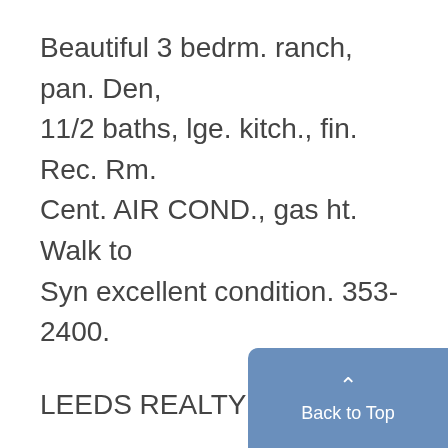Beautiful 3 bedrm. ranch, pan. Den, 11/2 baths, lge. kitch., fin. Rec. Rm. Cent. AIR COND., gas ht. Walk to Syn excellent condition. 353-2400.
LEEDS REALTY
PALMER WOODS SPECIAL
First offering on this modern C.E. COLONIAL. Three family bdrms., 2 baths w/maid's rm. & bath on 2nd fir. Large liv. rm., formal din. rm., powd. rm.; marble foyer; custo